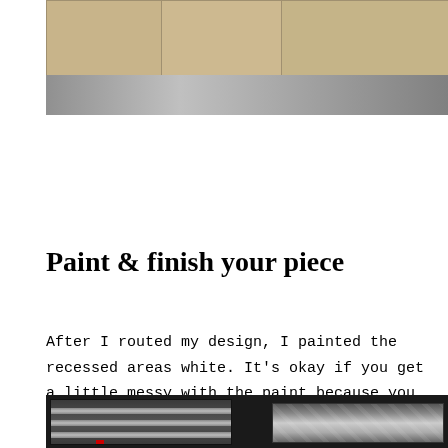[Figure (photo): Photo showing cardboard boxes on a floor with a silver/metallic surface below them, viewed from above at an angle.]
Paint & finish your piece
After I routed my design, I painted the recessed areas white. It's okay if you get a little messy with the paint because you can just sand it off later or paint over it.
[Figure (photo): Photo showing metal tool chest drawers, with horizontal silver rails on the left side and a diamond-plate metal panel on the right side.]